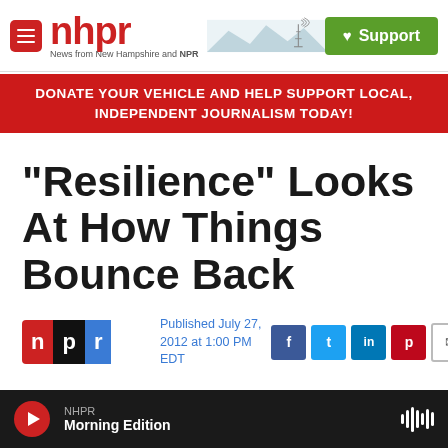nhpr — News from New Hampshire and NPR | Support
DONATE YOUR VEHICLE AND HELP SUPPORT LOCAL, INDEPENDENT JOURNALISM TODAY!
"Resilience" Looks At How Things Bounce Back
Published July 27, 2012 at 1:00 PM EDT
NHPR Morning Edition